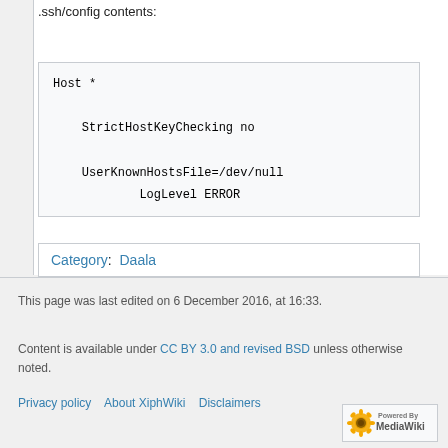.ssh/config contents:
Host *

    StrictHostKeyChecking no

    UserKnownHostsFile=/dev/null
            LogLevel ERROR
Category:  Daala
This page was last edited on 6 December 2016, at 16:33.
Content is available under CC BY 3.0 and revised BSD unless otherwise noted.
Privacy policy    About XiphWiki    Disclaimers